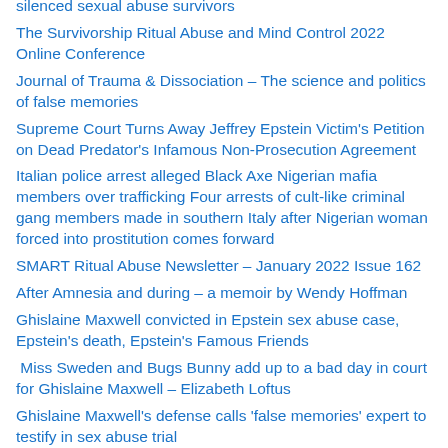silenced sexual abuse survivors
The Survivorship Ritual Abuse and Mind Control 2022 Online Conference
Journal of Trauma & Dissociation – The science and politics of false memories
Supreme Court Turns Away Jeffrey Epstein Victim's Petition on Dead Predator's Infamous Non-Prosecution Agreement
Italian police arrest alleged Black Axe Nigerian mafia members over trafficking Four arrests of cult-like criminal gang members made in southern Italy after Nigerian woman forced into prostitution comes forward
SMART Ritual Abuse Newsletter – January 2022 Issue 162
After Amnesia and during – a memoir by Wendy Hoffman
Ghislaine Maxwell convicted in Epstein sex abuse case, Epstein's death, Epstein's Famous Friends
Miss Sweden and Bugs Bunny add up to a bad day in court for Ghislaine Maxwell – Elizabeth Loftus
Ghislaine Maxwell's defense calls 'false memories' expert to testify in sex abuse trial
Epstein's island: What really happened there?